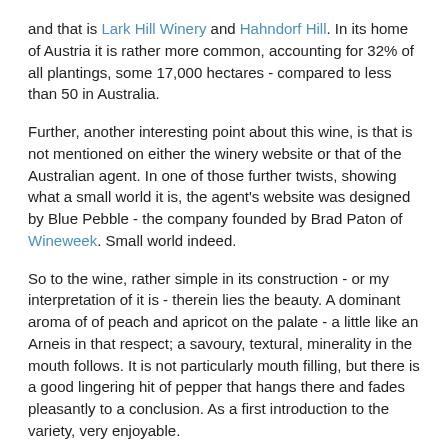and that is Lark Hill Winery and Hahndorf Hill.  In its home of Austria it is rather more common, accounting for 32% of all plantings, some 17,000 hectares - compared to less than 50 in Australia.
Further, another interesting point about this wine, is that is not mentioned on either the winery website or that of the Australian agent.  In one of those further twists, showing what a small world it is, the agent's website was designed by Blue Pebble - the company founded by Brad Paton of Wineweek.  Small world indeed.
So to the wine, rather simple in its construction - or my interpretation of it is - therein lies the beauty.  A dominant aroma of of peach and apricot on the palate - a little like an Arneis in that respect; a savoury, textural, minerality in the mouth follows.  It is not particularly mouth filling, but there is a good lingering hit of pepper that hangs there and fades pleasantly to a conclusion.  As a first introduction to the variety, very enjoyable.
I think it a variety we shall see more of over the next 3-5 years as the number of wineries taking on plantings increases.